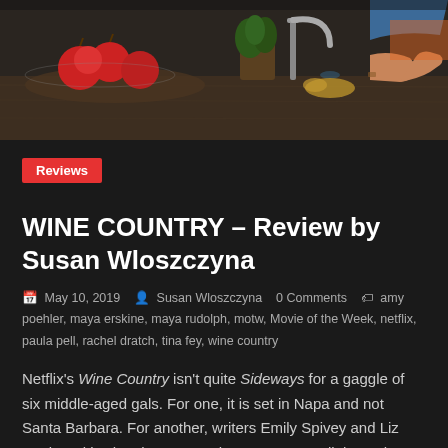[Figure (photo): Kitchen scene with fruit basket, apples, plants, faucet, and person's hand on wooden counter, dark background]
Reviews
WINE COUNTRY – Review by Susan Wloszczyna
May 10, 2019   Susan Wloszczyna   0 Comments   amy poehler, maya erskine, maya rudolph, motw, Movie of the Week, netflix, paula pell, rachel dratch, tina fey, wine country
Netflix's Wine Country isn't quite Sideways for a gaggle of six middle-aged gals. For one, it is set in Napa and not Santa Barbara. For another, writers Emily Spivey and Liz Cackowski, who show up on the screen as well, keep the dialogue at a sitcom-level pitch and packed with zingers.
Read more